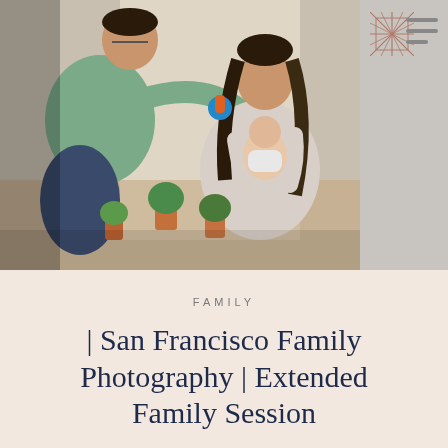[Figure (photo): A family photo showing a man in a green t-shirt and jeans leaning toward a woman sitting on the floor near a window. The woman is holding a baby. There are potted plants in the background. The scene is warmly lit.]
FAMILY
| San Francisco Family Photography | Extended Family Session